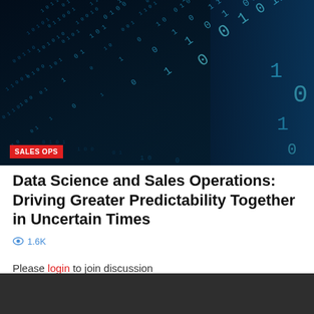[Figure (photo): Dark blue digital binary code / matrix data backdrop photo with streaking numbers and digits creating a perspective tunnel effect. A red badge reading 'SALES OPS' is overlaid in the bottom-left corner of the image.]
Data Science and Sales Operations: Driving Greater Predictability Together in Uncertain Times
1.6K views
Please login to join discussion